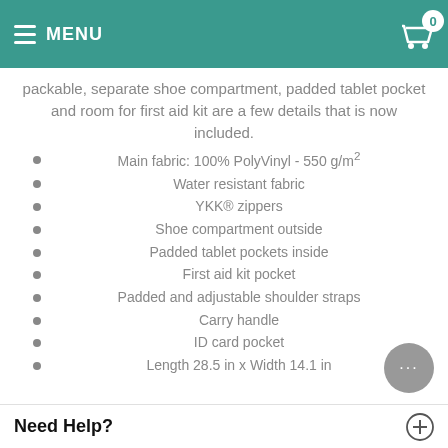MENU
packable, separate shoe compartment, padded tablet pocket and room for first aid kit are a few details that is now included.
Main fabric: 100% PolyVinyl - 550 g/m²
Water resistant fabric
YKK® zippers
Shoe compartment outside
Padded tablet pockets inside
First aid kit pocket
Padded and adjustable shoulder straps
Carry handle
ID card pocket
Length 28.5 in x Width 14.1 in
Need Help?